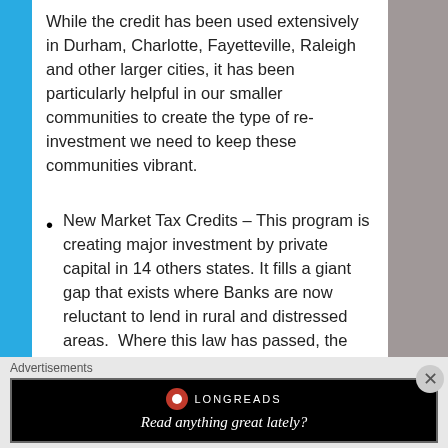While the credit has been used extensively in Durham, Charlotte, Fayetteville, Raleigh and other larger cities, it has been particularly helpful in our smaller communities to create the type of re-investment we need to keep these communities vibrant.
New Market Tax Credits – This program is creating major investment by private capital in 14 others states. It fills a giant gap that exists where Banks are now reluctant to lend in rural and distressed areas. Where this law has passed, the state has seen an immediate influx of capital and
Advertisements